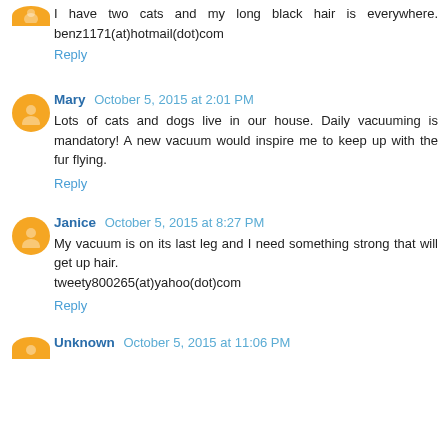I have two cats and my long black hair is everywhere. benz1171(at)hotmail(dot)com
Reply
Mary  October 5, 2015 at 2:01 PM
Lots of cats and dogs live in our house. Daily vacuuming is mandatory! A new vacuum would inspire me to keep up with the fur flying.
Reply
Janice  October 5, 2015 at 8:27 PM
My vacuum is on its last leg and I need something strong that will get up hair. tweety800265(at)yahoo(dot)com
Reply
Unknown  October 5, 2015 at 11:06 PM